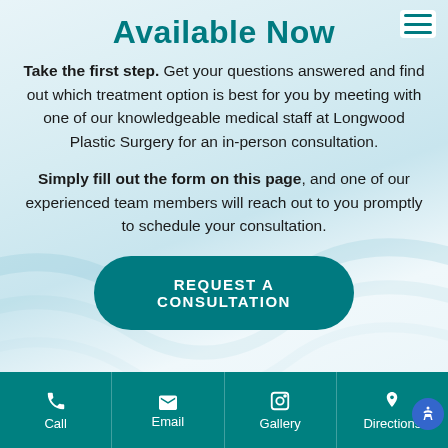Available Now
Take the first step. Get your questions answered and find out which treatment option is best for you by meeting with one of our knowledgeable medical staff at Longwood Plastic Surgery for an in-person consultation.
Simply fill out the form on this page, and one of our experienced team members will reach out to you promptly to schedule your consultation.
[Figure (other): Teal rounded button labeled REQUEST A CONSULTATION]
Call | Email | Gallery | Directions